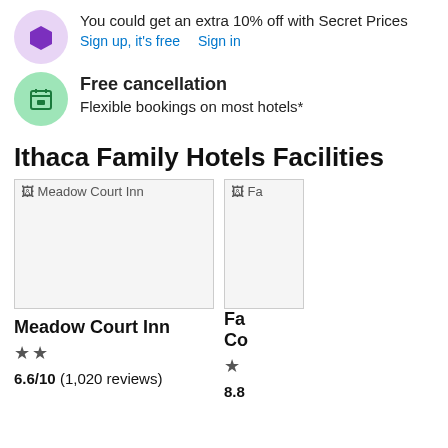You could get an extra 10% off with Secret Prices
Sign up, it's free   Sign in
Free cancellation
Flexible bookings on most hotels*
Ithaca Family Hotels Facilities
[Figure (photo): Meadow Court Inn hotel photo (broken image placeholder)]
[Figure (photo): Fa... hotel photo (broken image placeholder, partially visible)]
Meadow Court Inn
★★
6.6/10 (1,020 reviews)
Fa Co
★
8.8